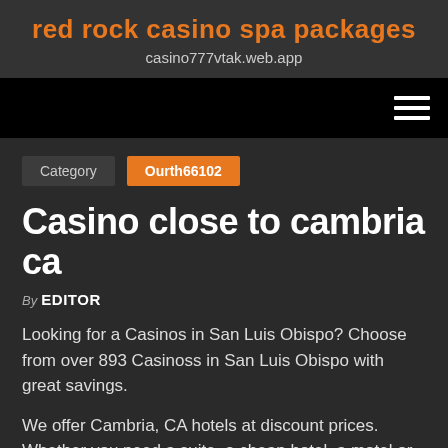red rock casino spa packages
casino777vtak.web.app
Category  Ourth66102
Casino close to cambria ca
By EDITOR
Looking for a Casinos in San Luis Obispo? Choose from over 893 Casinoss in San Luis Obispo with great savings.
We offer Cambria, CA hotels at discount prices. Whether you need a suite, a cheap hotel, a motel or hotel in Cambria